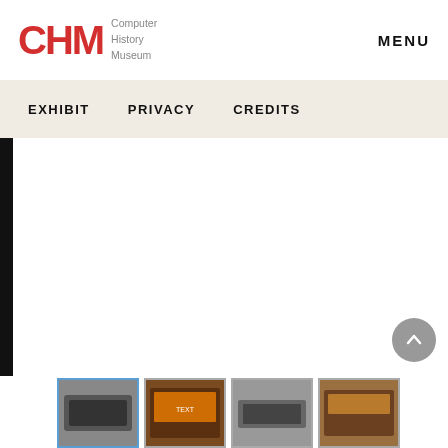[Figure (logo): CHM Computer History Museum logo with red CHM letters and grey text]
MENU
EXHIBIT    PRIVACY    CREDITS
[Figure (screenshot): Main content area - white empty space with black left stripe]
[Figure (photo): Thumbnail strip with four small photos of computing devices at the bottom]